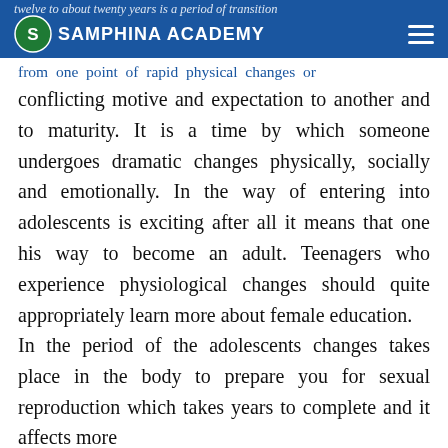Samphina Academy — navigation header with logo
twelve to about twenty years is a period of transition from one point of rapid physical changes or conflicting motive and expectation to another and to maturity. It is a time by which someone undergoes dramatic changes physically, socially and emotionally. In the way of entering into adolescents is exciting after all it means that one his way to become an adult. Teenagers who experience physiological changes should quite appropriately learn more about female education.
In the period of the adolescents changes takes place in the body to prepare you for sexual reproduction which takes years to complete and it affects more than the body more of an other than...